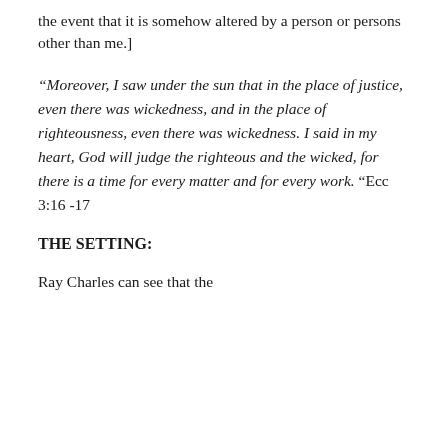the event that it is somehow altered by a person or persons other than me.]
“Moreover, I saw under the sun that in the place of justice, even there was wickedness, and in the place of righteousness, even there was wickedness. I said in my heart, God will judge the righteous and the wicked, for there is a time for every matter and for every work.” Ecc 3:16 -17
THE SETTING:
Ray Charles can see that the